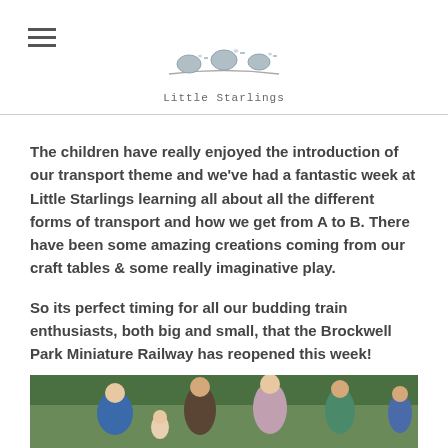Little Starlings
The children have really enjoyed the introduction of our transport theme and we've had a fantastic week at Little Starlings learning all about all the different forms of transport and how we get from A to B. There have been some amazing creations coming from our craft tables & some really imaginative play.
So its perfect timing for all our budding train enthusiasts, both big and small, that the Brockwell Park Miniature Railway has reopened this week!
[Figure (photo): Outdoor photo showing adults and children near green hedges/bushes, at what appears to be a miniature railway or park setting. People wearing blue, striped, and green jackets.]